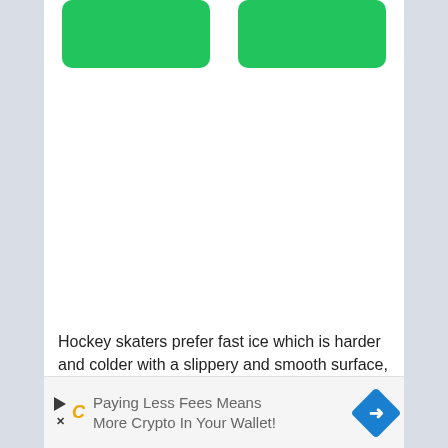[Figure (other): Two green rounded rectangle buttons side by side at the top of the page]
Hockey skaters prefer fast ice which is harder and colder with a slippery and smooth surface, as the skaters in ice hockey need fast and rapid movement.
[Figure (other): Advertisement banner: 'Paying Less Fees Means More Crypto In Your Wallet!' with play icon, C logo, and blue diamond arrow icon]